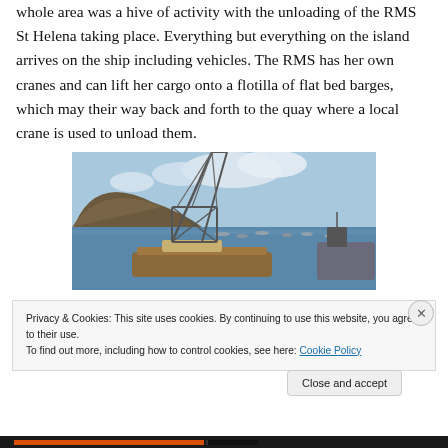whole area was a hive of activity with the unloading of the RMS St Helena taking place. Everything but everything on the island arrives on the ship including vehicles. The RMS has her own cranes and can lift her cargo onto a flotilla of flat bed barges, which may their way back and forth to the quay where a local crane is used to unload them.
[Figure (photo): A harbour scene showing a flat bed barge being loaded/unloaded by a crane with steel rigging, with boats moored in a bay surrounded by steep brown hills and a partly cloudy sky.]
Privacy & Cookies: This site uses cookies. By continuing to use this website, you agree to their use.
To find out more, including how to control cookies, see here: Cookie Policy
Close and accept